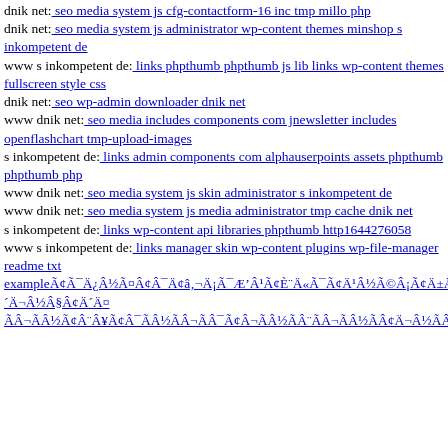dnik net: seo media system js cfg-contactform-16 inc tmp millo php
dnik net: seo media system js administrator wp-content themes minshop s inkompetent de
www s inkompetent de: links phpthumb phpthumb js lib links wp-content themes fullscreen style css
dnik net: seo wp-admin downloader dnik net
www dnik net: seo media includes components com jnewsletter includes openflashchart tmp-upload-images
s inkompetent de: links admin components com alphauserpoints assets phpthumb phpthumb php
www dnik net: seo media system js skin administrator s inkompetent de
www dnik net: seo media system js media administrator tmp cache dnik net
s inkompetent de: links wp-content api libraries phpthumb http1644276058
www s inkompetent de: links manager skin wp-content plugins wp-file-manager readme txt exampleÃÂ¯ÃÂ¿ÃÂ½ÃÂ¯ÃÂ¿ÃÂ½ÃÂ¯ÃÂ¿ÃÂ½ÃÂ¯Ã¢â‚¬Å¡ÃÂ¿ÃÂ¡ÃÂ¢â‚¬â€œÃÂ¢ÃÂ¯ÃÂ¨ÃÂ¯Ã‚Â³ÃÂ¯ÃÂ¢â‚¬â€œÃÂ¯ÃÂ¿ÃÂ½ÃÂ©ÃÂ¯Ã‚Â­ÃÂ¢â‚¬Â¹ÃÂ¡ÃÂ¯Ã‚Â¬ÃÂ¯ÃÂ¿ÃÂ½ÃÂ§ÃÂ¢â‚¬Â¬ÃÂ¯ÃÂ¤ ÃÂ¯Ã‚Â¬ÃÂ¯ÃÂ¿ÃÂ½Ã‚Â¨ÃÂ¯ÃÂ¢â‚¬â€œÃÂ¡ÃÂ¿ÃÂ½ÃÂ¯Ã‚Â¬Ã‚Â¯Ã‚Â¿Ã‚Â½ÃÂ¯Ã‚Â¬ÃÂ¯ÃÂ¿ÃÂ½Ã‚Â¨ÃÂ¯Ã‚Â¬Ã‚Â¯ÃÂ¿ÃÂ½ÃÂ¢â‚¬Â¬Ã‚Â¯Ã‚Â¿ÃÂ½ÃÂ¢â‚¬â€œÃÂ¢ÃÂ¯Ã‚Â¬Ã‚Â¯Ã‚Â¿Ã‚Â½Ã‚Â·ÃÂ¯Ã‚Â¿Ã‚Â½Ã‚Â¯Ã‚Â¿ÃÂ¡ÃÂ¯Ã‚Â¿